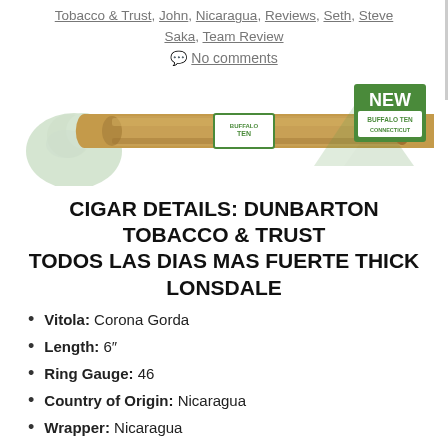Tobacco & Trust, John, Nicaragua, Reviews, Seth, Steve Saka, Team Review
No comments
[Figure (photo): Photo of a Buffalo Ten Connecticut cigar with green and white band, alongside the Buffalo Ten branding with 'NEW BUFFALO TEN CONNECTICUT' label on the right]
CIGAR DETAILS: DUNBARTON TOBACCO & TRUST TODOS LAS DIAS MAS FUERTE THICK LONSDALE
Vitola: Corona Gorda
Length: 6"
Ring Gauge: 46
Country of Origin: Nicaragua
Wrapper: Nicaragua